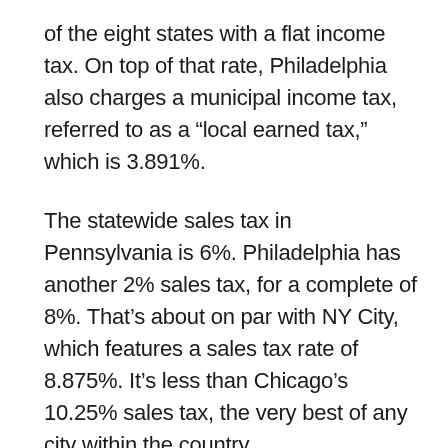of the eight states with a flat income tax. On top of that rate, Philadelphia also charges a municipal income tax, referred to as a “local earned tax,” which is 3.891%.
The statewide sales tax in Pennsylvania is 6%. Philadelphia has another 2% sales tax, for a complete of 8%. That’s about on par with NY City, which features a sales tax rate of 8.875%. It’s less than Chicago’s 10.25% sales tax, the very best of any city within the country.